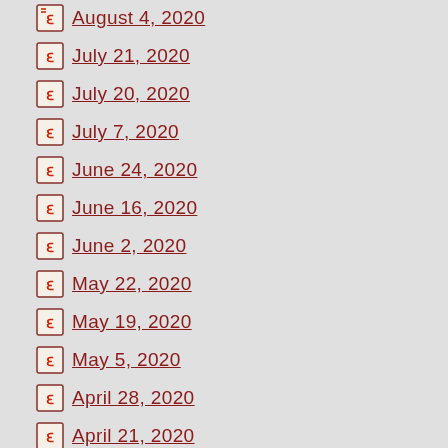August 4, 2020
July 21, 2020
July 20, 2020
July 7, 2020
June 24, 2020
June 16, 2020
June 2, 2020
May 22, 2020
May 19, 2020
May 5, 2020
April 28, 2020
April 21, 2020
April 13, 2020
April 7, 2020
March 30, 2020